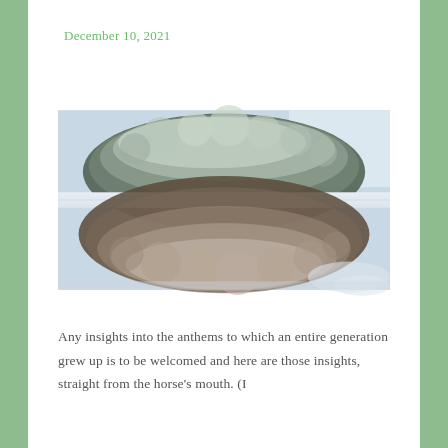December 10, 2021
[Figure (photo): Aerial drone view of snow-covered conifer forest split by a straight road or clearing running horizontally through the middle of the image. Trees are heavily laden with snow, viewed from directly above.]
Any insights into the anthems to which an entire generation grew up is to be welcomed and here are those insights, straight from the horse's mouth. (I